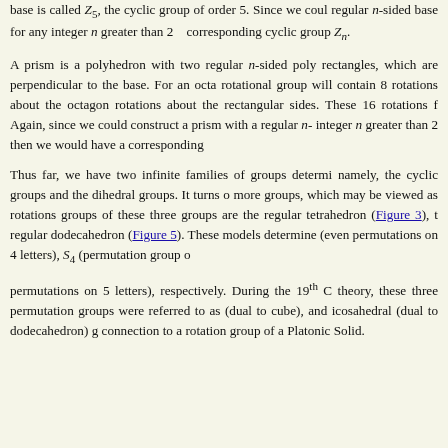base is called Z5, the cyclic group of order 5. Since we could construct a regular n-sided base for any integer n greater than 2 corresponding cyclic group Zn.
A prism is a polyhedron with two regular n-sided poly rectangles, which are perpendicular to the base. For an octa rotational group will contain 8 rotations about the octagon rotations about the rectangular sides. These 16 rotations f Again, since we could construct a prism with a regular n- integer n greater than 2 then we would have a corresponding
Thus far, we have two infinite families of groups determi namely, the cyclic groups and the dihedral groups. It turns more groups, which may be viewed as rotations groups of these three groups are the regular tetrahedron (Figure 3), t regular dodecahedron (Figure 5). These models determine (even permutations on 4 letters), S4 (permutation group o permutations on 5 letters), respectively. During the 19th C theory, these three permutation groups were referred to as (dual to cube), and icosahedral (dual to dodecahedron) g connection to a rotation group of a Platonic Solid.